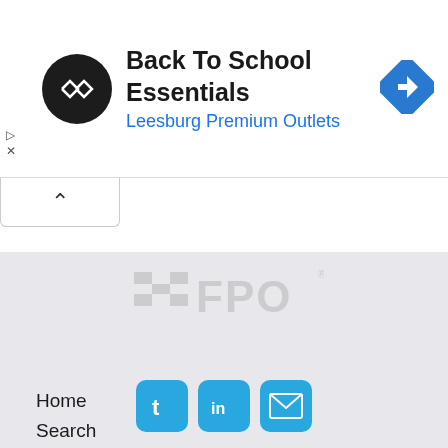[Figure (screenshot): Advertisement banner: black circle logo with arrows, text 'Back To School Essentials' bold, subtitle 'Leesburg Premium Outlets' in blue, blue diamond navigation icon on right, play and close controls on left]
[Figure (screenshot): Collapse/minimize button with upward chevron]
[Figure (screenshot): FPO watermark placeholder image in gray footer section]
Home
Search
Services
Contact us
[Figure (screenshot): Social media icons: Twitter (t), LinkedIn (in), Email (envelope) — blue rounded square buttons]